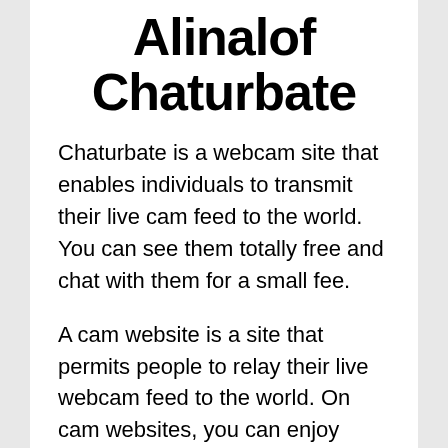Alinalof Chaturbate
Chaturbate is a webcam site that enables individuals to transmit their live cam feed to the world. You can see them totally free and chat with them for a small fee.
A cam website is a site that permits people to relay their live webcam feed to the world. On cam websites, you can enjoy these feeds for totally free and chat with them by paying a small cost.